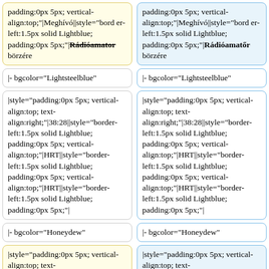padding:0px 5px; vertical-align:top;"|Meghívó||style="border-left:1.5px solid Lightblue; padding:0px 5px;"|Rádióamator-börzére
padding:0px 5px; vertical-align:top;"|Meghívó||style="border-left:1.5px solid Lightblue; padding:0px 5px;"|Rádióamatőr börzére
|- bgcolor="Lightsteelblue"
|- bgcolor="Lightsteelblue"
|style="padding:0px 5px; vertical-align:top; text-align:right;"|38:28||style="border-left:1.5px solid Lightblue; padding:0px 5px; vertical-align:top;"|HRT||style="border-left:1.5px solid Lightblue; padding:0px 5px; vertical-align:top;"|HRT||style="border-left:1.5px solid Lightblue; padding:0px 5px;"||style="border-left:1.5px solid Lightblue; padding:0px 5px;"|
|style="padding:0px 5px; vertical-align:top; text-align:right;"|38:28||style="border-left:1.5px solid Lightblue; padding:0px 5px; vertical-align:top;"|HRT||style="border-left:1.5px solid Lightblue; padding:0px 5px; vertical-align:top;"|HRT||style="border-left:1.5px solid Lightblue; padding:0px 5px;"||style="border-left:1.5px solid Lightblue; padding:0px 5px;"|
|- bgcolor="Honeydew"
|- bgcolor="Honeydew"
|style="padding:0px 5px; vertical-align:top; text-align:right;"|40:40||style="border
|style="padding:0px 5px; vertical-align:top; text-align:right;"|40:40||style="border